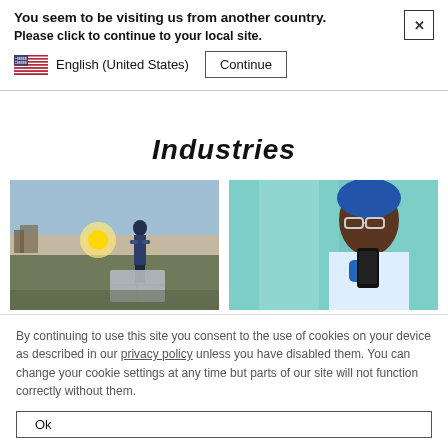You seem to be visiting us from another country.
Please click to continue to your local site.
English (United States)
Industries
[Figure (photo): Worker in blue jacket lifting a panel outdoors at sunrise in a field]
[Figure (photo): Black woman in lab coat, safety glasses and blue gloves holding a mobile device in a clinical/lab setting]
By continuing to use this site you consent to the use of cookies on your device as described in our privacy policy unless you have disabled them. You can change your cookie settings at any time but parts of our site will not function correctly without them.